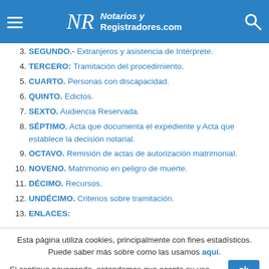Notarios y Registradores.com
3. SEGUNDO.- Extranjeros y asistencia de Intérprete.
4. TERCERO: Tramitación del procedimiento.
5. CUARTO. Personas con discapacidad.
6. QUINTO. Edictos.
7. SEXTO. Audiencia Reservada.
8. SÉPTIMO. Acta que documenta el expediente y Acta que establece la decisión notarial.
9. OCTAVO. Remisión de actas de autorización matrimonial.
10. NOVENO. Matrimonio en peligro de muerte.
11. DÉCIMO. Recursos.
12. UNDÉCIMO. Criterios sobre tramitación.
13. ENLACES:
Esta página utiliza cookies, principalmente con fines estadísticos. Puede saber más sobre como las usamos aquí. Si continua navegando, entendemos que acepta su uso.